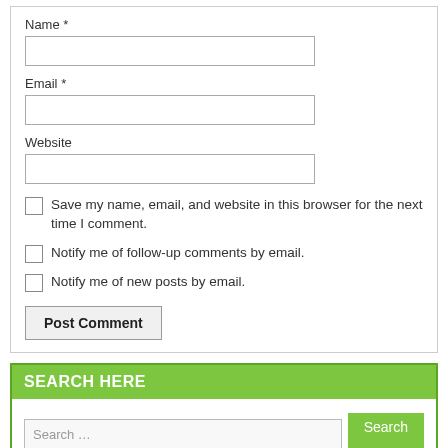Name *
Email *
Website
Save my name, email, and website in this browser for the next time I comment.
Notify me of follow-up comments by email.
Notify me of new posts by email.
Post Comment
SEARCH HERE
Search …
FOLLOW US